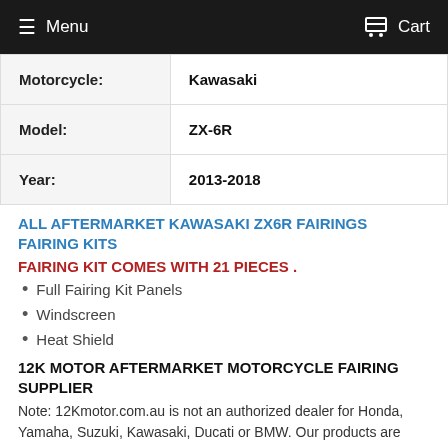Menu  Cart
| Motorcycle: | Kawasaki |
| Model: | ZX-6R |
| Year: | 2013-2018 |
ALL AFTERMARKET KAWASAKI ZX6R FAIRINGS FAIRING KITS
FAIRING KIT COMES WITH 21 PIECES .
Full Fairing Kit Panels
Windscreen
Heat Shield
12K MOTOR AFTERMARKET MOTORCYCLE FAIRING SUPPLIER
Note: 12Kmotor.com.au is not an authorized dealer for Honda, Yamaha, Suzuki, Kawasaki, Ducati or BMW. Our products are